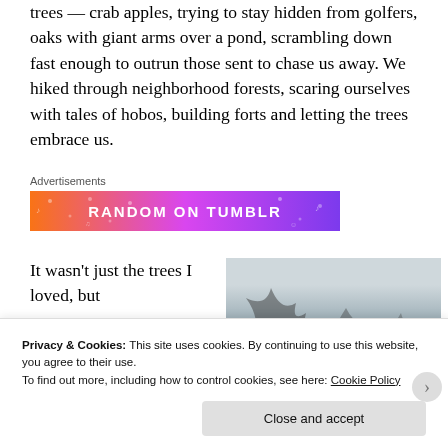trees — crab apples, trying to stay hidden from golfers, oaks with giant arms over a pond, scrambling down fast enough to outrun those sent to chase us away. We hiked through neighborhood forests, scaring ourselves with tales of hobos, building forts and letting the trees embrace us.
Advertisements
[Figure (illustration): Colorful banner ad with orange-to-purple gradient background with decorative dots and music notes, text reading RANDOM ON tumblr]
It wasn't just the trees I loved, but
[Figure (photo): Wintry outdoor photo showing bare tree branches against a pale grey sky]
Privacy & Cookies: This site uses cookies. By continuing to use this website, you agree to their use.
To find out more, including how to control cookies, see here: Cookie Policy
Close and accept